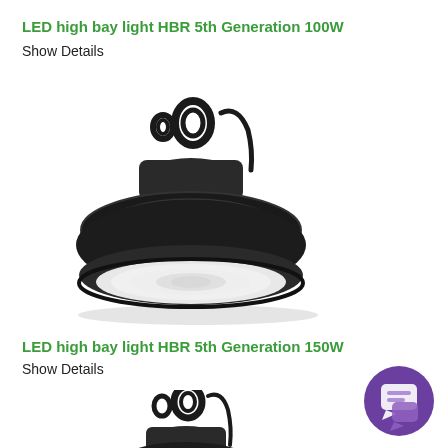LED high bay light HBR 5th Generation 100W
Show Details
[Figure (photo): Black UFO-style LED high bay light fixture with mounting hooks and wire, viewed from a slight angle showing the round flat diffuser bottom and ribbed heat sink body.]
LED high bay light HBR 5th Generation 150W
Show Details
[Figure (photo): Black UFO-style LED high bay light fixture with mounting hook and wire, partially visible at the bottom of the page, same style as the 100W model above.]
[Figure (other): Purple circular chat/support button icon in the bottom-right corner of the page.]